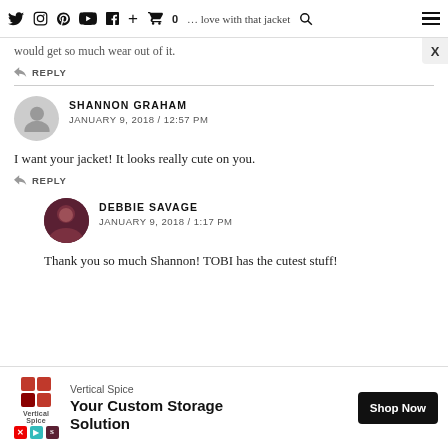Social media icons and navigation
...love with that jacket would get so much wear out of it.
↩ REPLY
SHANNON GRAHAM
JANUARY 9, 2018 / 12:57 PM
I want your jacket! It looks really cute on you.
↩ REPLY
DEBBIE SAVAGE
JANUARY 9, 2018 / 1:17 PM
Thank you so much Shannon! TOBI has the cutest stuff!
[Figure (infographic): Advertisement banner for Vertical Spice: 'Your Custom Storage Solution' with Shop Now button]